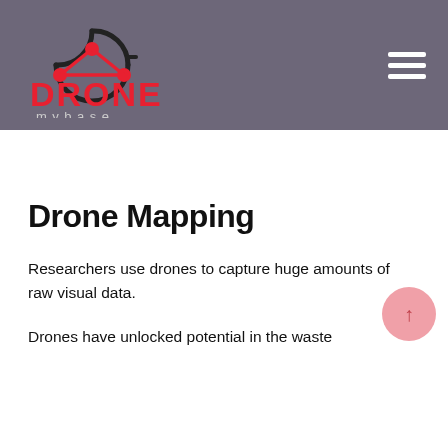[Figure (logo): Drone Mybase logo with red network/molecule icon above bold red DRONE text and grey 'mybase' subtitle]
Drone Mapping
Researchers use drones to capture huge amounts of raw visual data.
Drones have unlocked potential in the waste